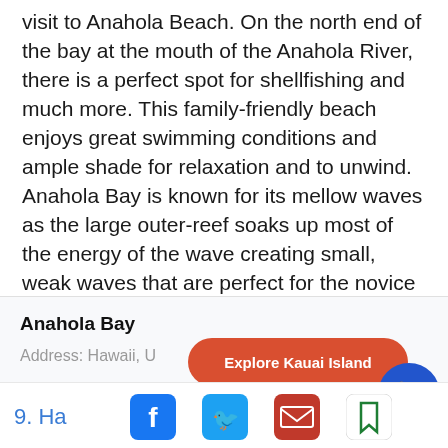visit to Anahola Beach. On the north end of the bay at the mouth of the Anahola River, there is a perfect spot for shellfishing and much more. This family-friendly beach enjoys great swimming conditions and ample shade for relaxation and to unwind. Anahola Bay is known for its mellow waves as the large outer-reef soaks up most of the energy of the wave creating small, weak waves that are perfect for the novice surfers to harness their skills.
Anahola Bay
Address: Hawaii, U...
[Figure (other): Red pill-shaped button with white bold text: Explore Kauai Island]
[Figure (other): Blue circular phone/call button with white phone icon]
9. Ha
[Figure (other): Bottom bar with social sharing icons: Facebook (blue square with f), Twitter (blue square with bird), Email (red envelope), Bookmark (green bookmark outline)]